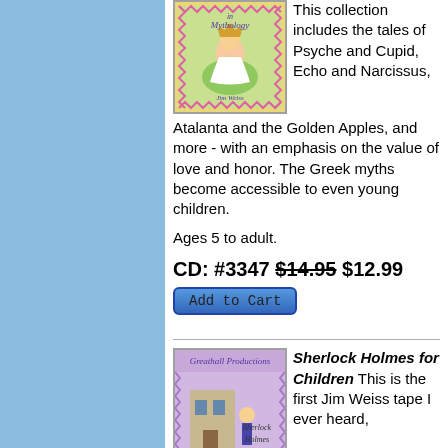[Figure (illustration): Book cover for a Greek/Women in Mythology audiobook by Jim Weiss, showing a girl in a green field with decorative border]
This collection includes the tales of Psyche and Cupid, Echo and Narcissus, Atalanta and the Golden Apples, and more - with an emphasis on the value of love and honor. The Greek myths become accessible to even young children.
Ages 5 to adult.
CD: #3347 $14.95 $12.99
[Figure (screenshot): Add to Cart button with blue gradient background]
[Figure (illustration): Book cover for Sherlock Holmes for Children by Greathall Productions, Jim Weiss, showing a detective scene]
Sherlock Holmes for Children This is the first Jim Weiss tape I ever heard,